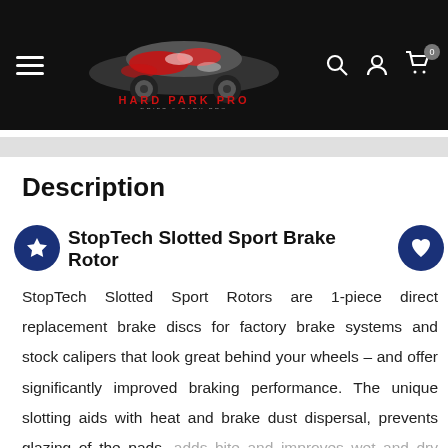Hard Park Pro – Navigation header with logo, hamburger menu, search, account, and cart icons
Description
StopTech Slotted Sport Brake Rotor
StopTech Slotted Sport Rotors are 1-piece direct replacement brake discs for factory brake systems and stock calipers that look great behind your wheels – and offer significantly improved braking performance. The unique slotting aids with heat and brake dust dispersal, prevents glazing of the pads, adds bite and improves wet and dry braking performance. Built